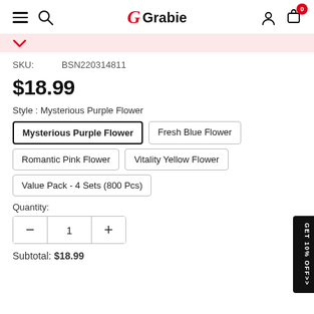Grabie
SKU: BSN220314811
$18.99
Style : Mysterious Purple Flower
Mysterious Purple Flower (selected)
Fresh Blue Flower
Romantic Pink Flower
Vitality Yellow Flower
Value Pack - 4 Sets (800 Pcs)
Quantity:
1
Subtotal: $18.99